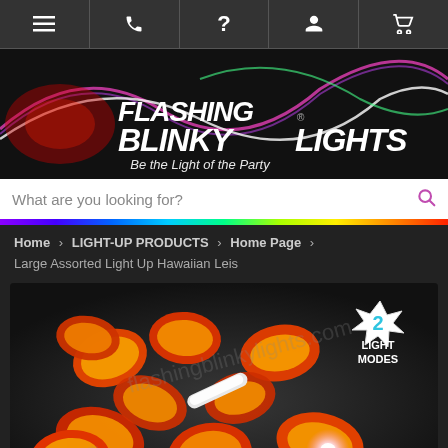[Figure (screenshot): Navigation bar with menu, phone, help, account, and cart icons]
[Figure (logo): Flashing Blinky Lights logo with colorful light effects and tagline 'Be the Light of the Party']
[Figure (screenshot): Search bar with placeholder text 'What are you looking for?' and search icon]
[Figure (screenshot): Rainbow colored bar separator]
Home > LIGHT-UP PRODUCTS > Home Page > Large Assorted Light Up Hawaiian Leis
[Figure (photo): Large assorted light up Hawaiian lei with red and yellow flowers, white LED light, and '2 LIGHT MODES' badge in top right corner]